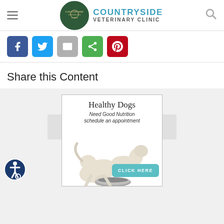[Figure (logo): Countryside Veterinary Clinic logo with circular emblem and text]
[Figure (infographic): Social share buttons: Facebook (blue), Twitter (light blue), Email (gray), Share (green), Pinterest (red)]
Share this Content
[Figure (illustration): Advertisement card with border: 'Healthy Dogs Need Good Nutrition schedule an appointment' with two white puppies eating from a bowl and a teal CLICK HERE button]
[Figure (illustration): Accessibility icon in bottom left corner - wheelchair symbol in dark blue circle]